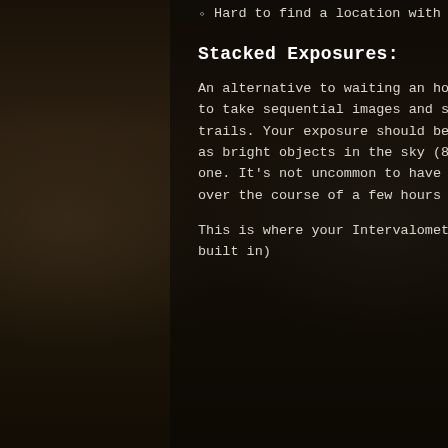Hard to find a location with zero ambient light pollution
Stacked Exposures:
An alternative to waiting an hour or more for your exposure to finish is to take sequential images and stack them together after to produce star trails.  Your exposure should be just long enough to register your stars as bright objects in the sky (8-10 seconds) before moving onto the next one.  It's not uncommon to have several hundred images to stack taken over the course of a few hours (a good start is 150-200 images)
This is where your Intervalometer will come in (some cameras have them built in)